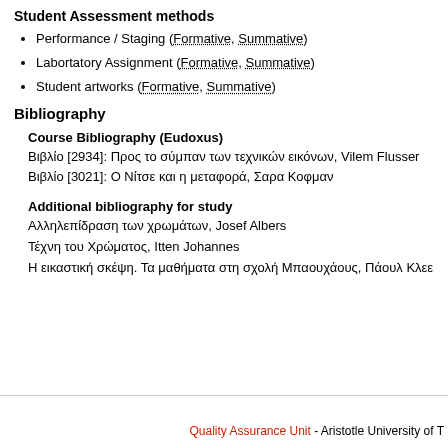Student Assessment methods
Performance / Staging (Formative, Summative)
Labortatory Assignment (Formative, Summative)
Student artworks (Formative, Summative)
Bibliography
Course Bibliography (Eudoxus)
Βιβλίο [2934]: Προς το σύμπαν των τεχνικών εικόνων, Vilem Flusser
Βιβλίο [3021]: Ο Νίτσε και η μεταφορά, Σαρα Κοφμαν
Additional bibliography for study
Αλληλεπίδραση των χρωμάτων, Josef Albers
Τέχνη του Χρώματος, Itten Johannes
Η εικαστική σκέψη. Τα μαθήματα στη σχολή Μπαουχάους, Πάουλ Κλεε
Quality Assurance Unit - Aristotle University of T